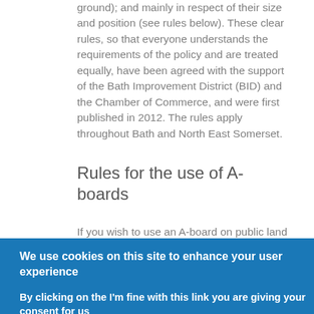ground); and mainly in respect of their size and position (see rules below). These clear rules, so that everyone understands the requirements of the policy and are treated equally, have been agreed with the support of the Bath Improvement District (BID) and the Chamber of Commerce, and were first published in 2012. The rules apply throughout Bath and North East Somerset.
Rules for the use of A-boards
If you wish to use an A-board on public land you will need to make sure that you follow the rules below:
We use cookies on this site to enhance your user experience
By clicking on the I'm fine with this link you are giving your consent for us